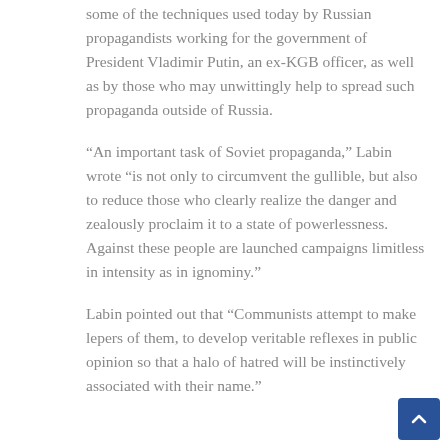some of the techniques used today by Russian propagandists working for the government of President Vladimir Putin, an ex-KGB officer, as well as by those who may unwittingly help to spread such propaganda outside of Russia.
“An important task of Soviet propaganda,” Labin wrote “is not only to circumvent the gullible, but also to reduce those who clearly realize the danger and zealously proclaim it to a state of powerlessness. Against these people are launched campaigns limitless in intensity as in ignominy.”
Labin pointed out that “Communists attempt to make lepers of them, to develop veritable reflexes in public opinion so that a halo of hatred will be instinctively associated with their name.”